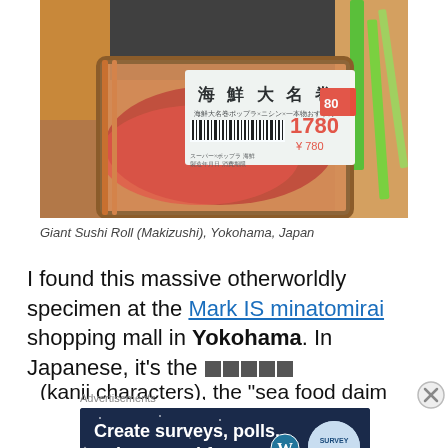[Figure (photo): Close-up photo of a giant sushi roll (makizushi) in a plastic tray with a Japanese price label showing 1780 yen, sold at a market in Yokohama, Japan. A barcode and Japanese characters are visible on the label.]
Giant Sushi Roll (Makizushi), Yokohama, Japan
I found this massive otherworldly specimen at the Mark IS minatomirai shopping mall in Yokohama. In Japanese, it’s the ■■■■■ (kanji characters) — the “sea food daimo”
[Figure (screenshot): Advertisement banner for WordPress survey/polls/quizzes/forms tool, dark navy background with white bold text and a circular logo.]